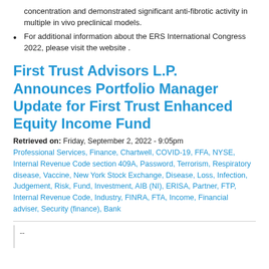concentration and demonstrated significant anti-fibrotic activity in multiple in vivo preclinical models.
For additional information about the ERS International Congress 2022, please visit the website .
First Trust Advisors L.P. Announces Portfolio Manager Update for First Trust Enhanced Equity Income Fund
Retrieved on: Friday, September 2, 2022 - 9:05pm
Professional Services, Finance, Chartwell, COVID-19, FFA, NYSE, Internal Revenue Code section 409A, Password, Terrorism, Respiratory disease, Vaccine, New York Stock Exchange, Disease, Loss, Infection, Judgement, Risk, Fund, Investment, AIB (NI), ERISA, Partner, FTP, Internal Revenue Code, Industry, FINRA, FTA, Income, Financial adviser, Security (finance), Bank
--